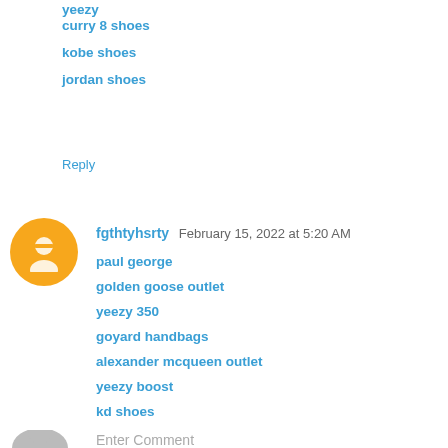yeezy
curry 8 shoes
kobe shoes
jordan shoes
Reply
fgthtyhsrty  February 15, 2022 at 5:20 AM
paul george
golden goose outlet
yeezy 350
goyard handbags
alexander mcqueen outlet
yeezy boost
kd shoes
kyrie shoes
curry 8
curry shoes
Reply
Enter Comment